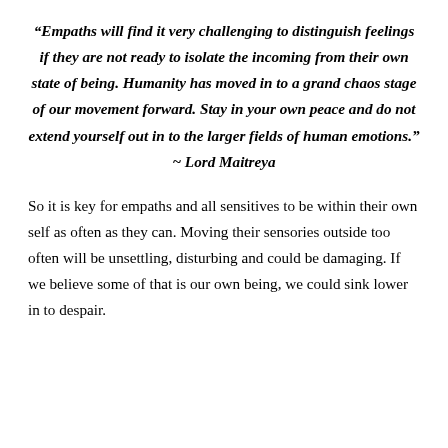“Empaths will find it very challenging to distinguish feelings if they are not ready to isolate the incoming from their own state of being. Humanity has moved in to a grand chaos stage of our movement forward. Stay in your own peace and do not extend yourself out in to the larger fields of human emotions.” ~ Lord Maitreya
So it is key for empaths and all sensitives to be within their own self as often as they can. Moving their sensories outside too often will be unsettling, disturbing and could be damaging. If we believe some of that is our own being, we could sink lower in to despair.